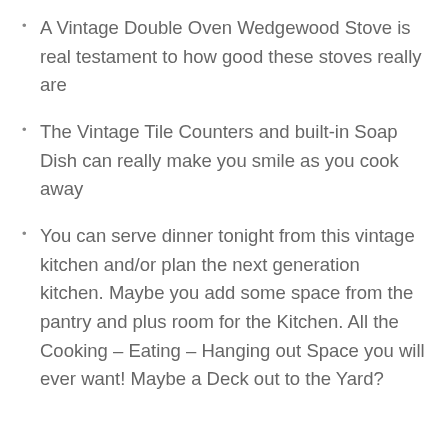A Vintage Double Oven Wedgewood Stove is real testament to how good these stoves really are
The Vintage Tile Counters and built-in Soap Dish can really make you smile as you cook away
You can serve dinner tonight from this vintage kitchen and/or plan the next generation kitchen. Maybe you add some space from the pantry and plus room for the Kitchen. All the Cooking – Eating – Hanging out Space you will ever want! Maybe a Deck out to the Yard?